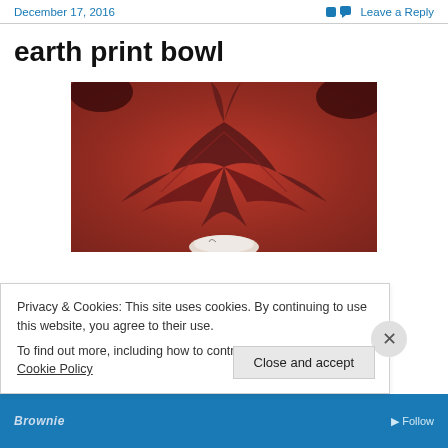December 17, 2016    Leave a Reply
earth print bowl
[Figure (photo): Close-up photo of a red and dark brown earth print bowl with leaf/floral pattern texture, white bowl rim visible at bottom center]
Privacy & Cookies: This site uses cookies. By continuing to use this website, you agree to their use.
To find out more, including how to control cookies, see here: Cookie Policy
Close and accept